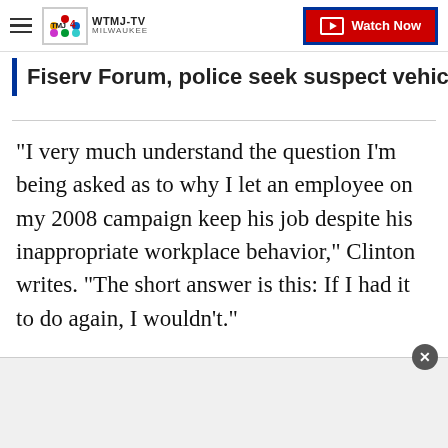WTMJ-TV Milwaukee | Watch Now
Fiserv Forum, police seek suspect vehicle
"I very much understand the question I'm being asked as to why I let an employee on my 2008 campaign keep his job despite his inappropriate workplace behavior," Clinton writes. "The short answer is this: If I had it to do again, I wouldn't."